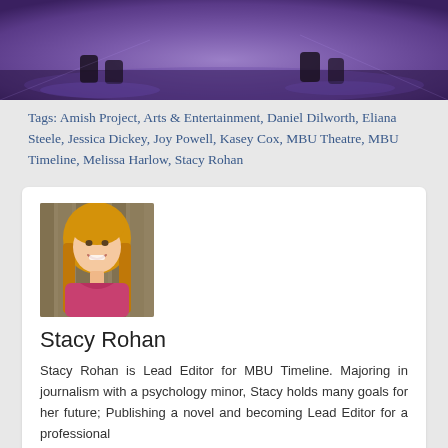[Figure (photo): Stage performance photo with purple/violet stage lighting, showing feet and lower body of performers on a stage floor]
Tags: Amish Project, Arts & Entertainment, Daniel Dilworth, Eliana Steele, Jessica Dickey, Joy Powell, Kasey Cox, MBU Theatre, MBU Timeline, Melissa Harlow, Stacy Rohan
[Figure (photo): Headshot of Stacy Rohan, a young woman with long blonde hair wearing a pink shirt, smiling outdoors with a fence in the background]
Stacy Rohan
Stacy Rohan is Lead Editor for MBU Timeline. Majoring in journalism with a psychology minor, Stacy holds many goals for her future; Publishing a novel and becoming Lead Editor for a professional